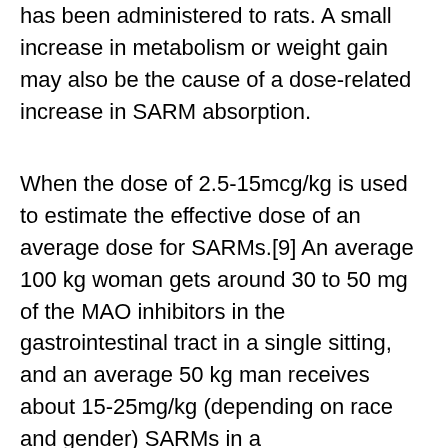has been administered to rats. A small increase in metabolism or weight gain may also be the cause of a dose-related increase in SARM absorption.
When the dose of 2.5-15mcg/kg is used to estimate the effective dose of an average dose for SARMs.[9] An average 100 kg woman gets around 30 to 50 mg of the MAO inhibitors in the gastrointestinal tract in a single sitting, and an average 50 kg man receives about 15-25mg/kg (depending on race and gender) SARMs in a
To start losing weight, one has to burn more calories than one consumes. When you consume less calories than you burn (i. 2011 · цитируется: 94 — how to lose weight bias fast! evaluating a brief anti-weight bias intervention. Br j health psychol. What's a high-fat weight loss